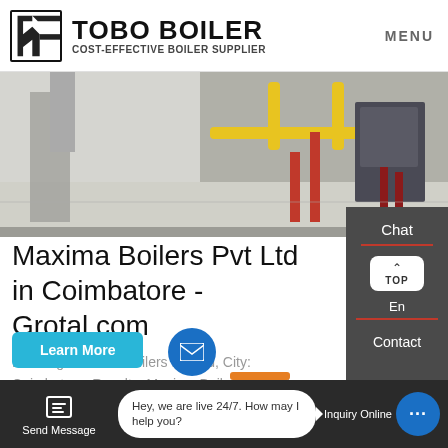[Figure (logo): Tobo Boiler logo with geometric icon]
MENU
[Figure (photo): Industrial boiler room with yellow and red pipes on grey floor]
Maxima Boilers Pvt Ltd in Coimbatore - Grotal.com
Heading: Maxima Boilers Pvt Ltd, City: Coimbatore, Results: Maxima Boilers Pvt Ltd Thudiyalur, Involvements: Manufacturers Boiler Manufacturers Boiler Dealers near me with phone number, reviews and address.
Chat
En
Contact
Send Message
Hey, we are live 24/7. How may I help you?
Inquiry Online